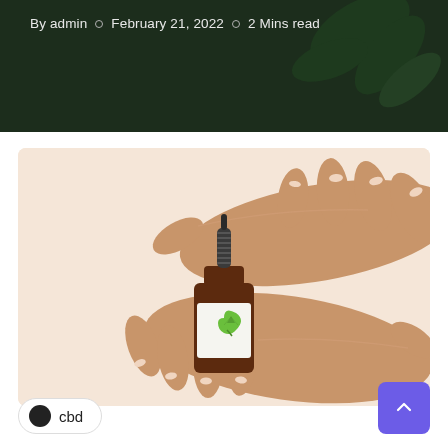By admin  ○  February 21, 2022  ○  2 Mins read
[Figure (illustration): Illustration of two hands cradling a small amber dropper bottle with a green cannabis leaf drop logo on the label, set on a peach/blush background]
cbd